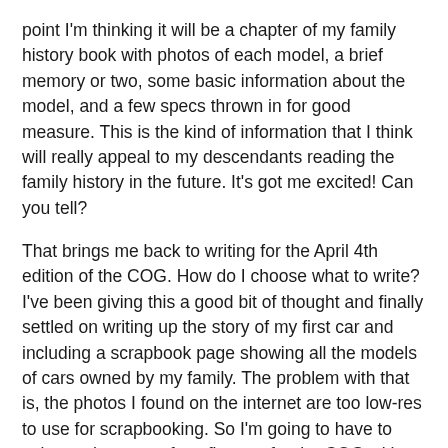point I'm thinking it will be a chapter of my family history book with photos of each model, a brief memory or two, some basic information about the model, and a few specs thrown in for good measure. This is the kind of information that I think will really appeal to my descendants reading the family history in the future. It's got me excited! Can you tell?
That brings me back to writing for the April 4th edition of the COG. How do I choose what to write? I've been giving this a good bit of thought and finally settled on writing up the story of my first car and including a scrapbook page showing all the models of cars owned by my family. The problem with that is, the photos I found on the internet are too low-res to use for scrapbooking. So I'm going to have to write up the story of my first car for the COG without the scrapbook page and will make it my photography project for the summer to go out and find and photograph restored models of each of my family's cars. Sounds like a great photographic challenge to me!
Stay tuned!